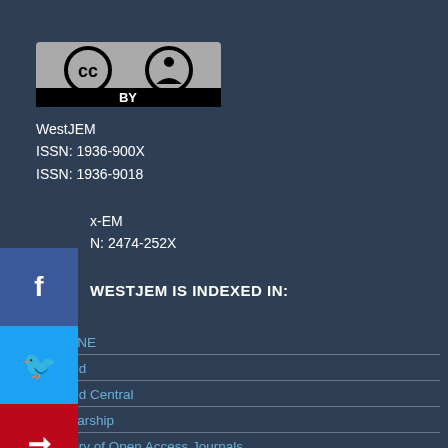[Figure (logo): Creative Commons CC BY license logo]
WestJEM
ISSN: 1936-900X
ISSN: 1936-9018
x-EM
N: 2474-252X
WESTJEM IS INDEXED IN:
MEDLINE
PubMed
PubMed Central
eScholarship
Directory of Open Access Journals